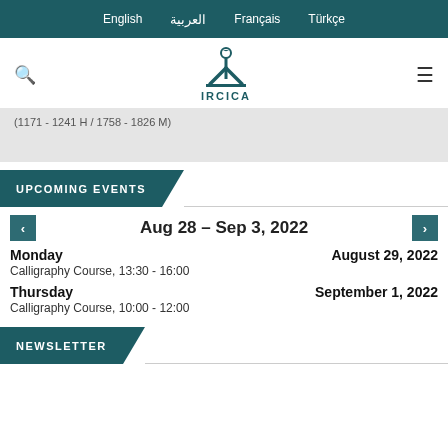English | العربية | Français | Türkçe
[Figure (logo): IRCICA logo with stylized calligraphy pen/pillar and text IRCICA]
(1171 - 1241 H / 1758 - 1826 M)
UPCOMING EVENTS
Aug 28 – Sep 3, 2022
Monday August 29, 2022
Calligraphy Course, 13:30 - 16:00
Thursday September 1, 2022
Calligraphy Course, 10:00 - 12:00
NEWSLETTER